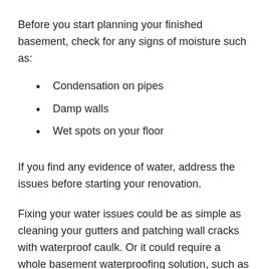Before you start planning your finished basement, check for any signs of moisture such as:
Condensation on pipes
Damp walls
Wet spots on your floor
If you find any evidence of water, address the issues before starting your renovation.
Fixing your water issues could be as simple as cleaning your gutters and patching wall cracks with waterproof caulk. Or it could require a whole basement waterproofing solution, such as adding French drains and a sump pump. For those bigger